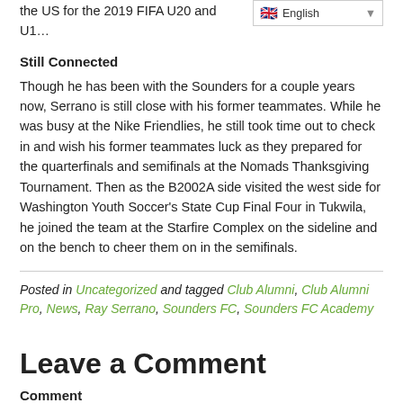the US for the 2019 FIFA U20 and U1…
[Figure (screenshot): Language selector dropdown showing English with UK flag]
Still Connected
Though he has been with the Sounders for a couple years now, Serrano is still close with his former teammates. While he was busy at the Nike Friendlies, he still took time out to check in and wish his former teammates luck as they prepared for the quarterfinals and semifinals at the Nomads Thanksgiving Tournament. Then as the B2002A side visited the west side for Washington Youth Soccer's State Cup Final Four in Tukwila, he joined the team at the Starfire Complex on the sideline and on the bench to cheer them on in the semifinals.
Posted in Uncategorized and tagged Club Alumni, Club Alumni Pro, News, Ray Serrano, Sounders FC, Sounders FC Academy
Leave a Comment
Comment